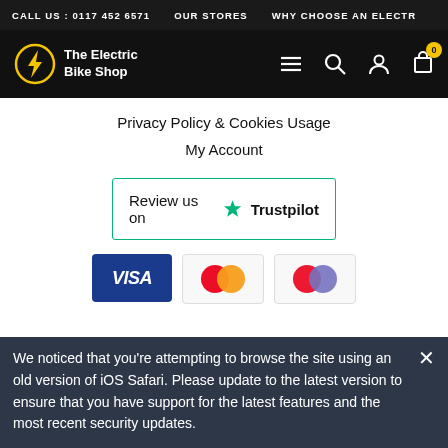CALL US : 0117 452 6571   OUR STORES   WHY CHOOSE AN ELECT
[Figure (logo): The Electric Bike Shop logo with navigation icons (hamburger menu, search, account, cart with badge showing 0)]
Privacy Policy & Cookies Usage
My Account
[Figure (other): Review us on Trustpilot button with green star and teal border]
[Figure (other): Payment method icons: Visa (dark blue), Mastercard (red/orange circles), Maestro (red/blue circles)]
We noticed that you're attempting to browse the site using an old version of iOS Safari. Please update to the latest version to ensure that you have support for the latest features and the most recent security updates.